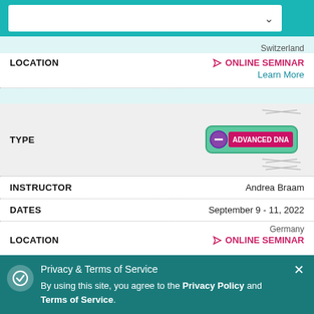[Figure (screenshot): Dropdown input box at top of page on teal background]
Switzerland
LOCATION
ONLINE SEMINAR
Learn More
TYPE
[Figure (illustration): Advanced DNA badge with DNA helix graphic, purple circle with minus icon and magenta 'ADVANCED DNA' text label on green rounded rectangle background]
INSTRUCTOR
Andrea Braam
DATES
September 9 - 11, 2022
Germany
LOCATION
ONLINE SEMINAR
Learn More
T
Privacy & Terms of Service
By using this site, you agree to the Privacy Policy and Terms of Service.